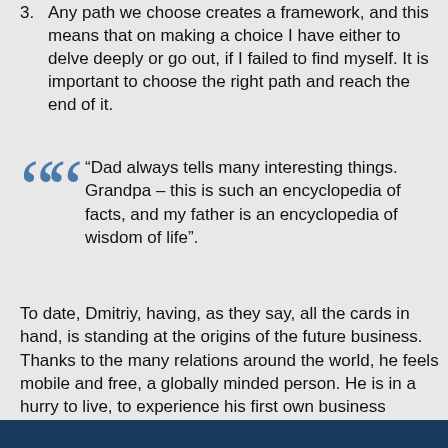3. Any path we choose creates a framework, and this means that on making a choice I have either to delve deeply or go out, if I failed to find myself. It is important to choose the right path and reach the end of it.
“Dad always tells many interesting things. Grandpa – this is such an encyclopedia of facts, and my father is an encyclopedia of wisdom of life”.
To date, Dmitriy, having, as they say, all the cards in hand, is standing at the origins of the future business. Thanks to the many relations around the world, he feels mobile and free, a globally minded person. He is in a hurry to live, to experience his first own business success, and it is possible that the last name of Burda will be equally well-known for his generation, but with the first name of Dmitriy this time.